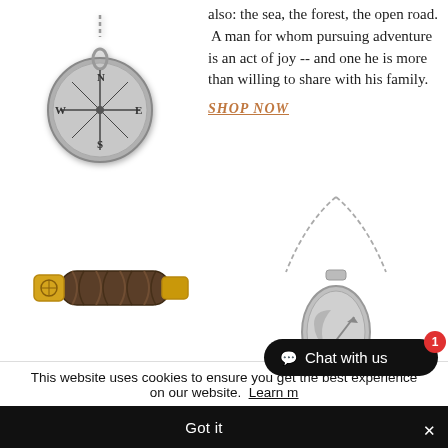[Figure (photo): Silver compass pendant necklace with N, S, E, W markings and star design]
also: the sea, the forest, the open road. A man for whom pursuing adventure is an act of joy -- and one he is more than willing to share with his family.
SHOP NOW
[Figure (photo): Brown braided leather bracelet with gold star clasp]
[Figure (photo): Silver necklace with oval pendant engraved with moon and arrow design]
This website uses cookies to ensure you get the best experience on our website. Learn more
Got it
Chat with us